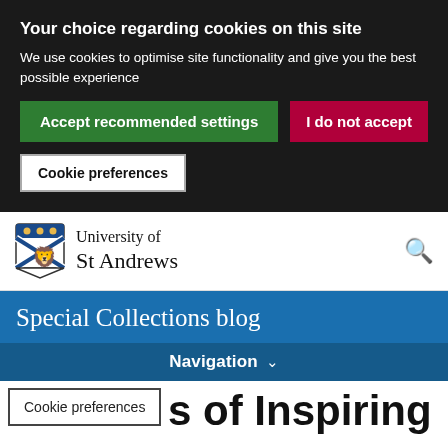Your choice regarding cookies on this site
We use cookies to optimise site functionality and give you the best possible experience
Accept recommended settings
I do not accept
Cookie preferences
[Figure (logo): University of St Andrews crest/shield logo]
University of St Andrews
Special Collections blog
Navigation
Cookie preferences
s of Inspiring